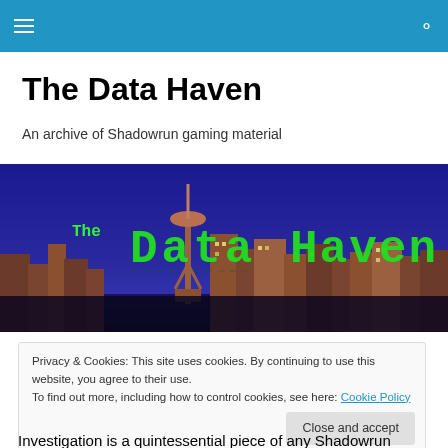The Data Haven — navigation bar
The Data Haven
An archive of Shadowrun gaming material
[Figure (photo): Banner image of Seattle skyline at night/dusk with Space Needle, overlaid with green text reading 'The Data Haven']
Privacy & Cookies: This site uses cookies. By continuing to use this website, you agree to their use.
To find out more, including how to control cookies, see here: Cookie Policy
Investigation is a quintessential piece of any Shadowrun